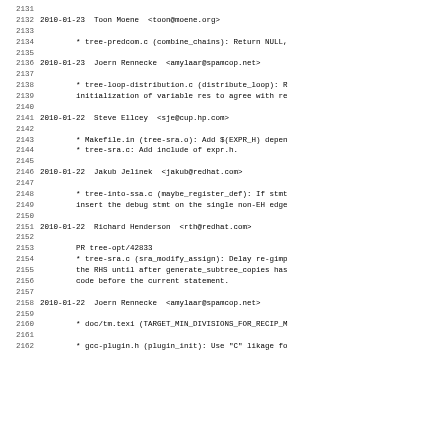2131
2132 2010-01-23  Toon Moene  <toon@moene.org>
2133
2134		* tree-predcom.c (combine_chains): Return NULL,
2135
2136 2010-01-23  Joern Rennecke  <amylaar@spamcop.net>
2137
2138		* tree-loop-distribution.c (distribute_loop): R
2139		initialization of variable res to agree with re
2140
2141 2010-01-22  Steve Ellcey  <sje@cup.hp.com>
2142
2143		* Makefile.in (tree-sra.o): Add $(EXPR_H) depen
2144		* tree-sra.c: Add include of expr.h.
2145
2146 2010-01-22  Jakub Jelinek  <jakub@redhat.com>
2147
2148		* tree-into-ssa.c (maybe_register_def): If stmt
2149		insert the debug stmt on the single non-EH edge
2150
2151 2010-01-22  Richard Henderson  <rth@redhat.com>
2152
2153		PR tree-opt/42833
2154		* tree-sra.c (sra_modify_assign): Delay re-gimp
2155		the RHS until after generate_subtree_copies has
2156		code before the current statement.
2157
2158 2010-01-22  Joern Rennecke  <amylaar@spamcop.net>
2159
2160		* doc/tm.texi (TARGET_MIN_DIVISIONS_FOR_RECIP_M
2161
2162		* gcc-plugin.h (plugin_init): Use "C" likage fo